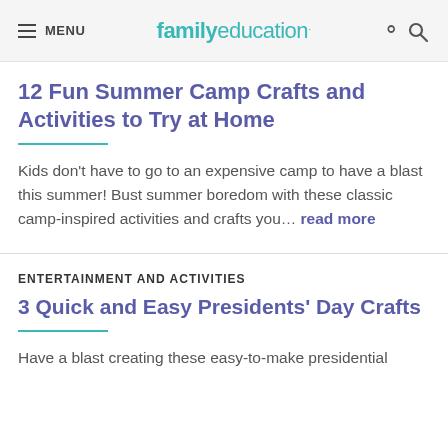MENU | familyeducation
12 Fun Summer Camp Crafts and Activities to Try at Home
Kids don't have to go to an expensive camp to have a blast this summer! Bust summer boredom with these classic camp-inspired activities and crafts you… read more
ENTERTAINMENT AND ACTIVITIES
3 Quick and Easy Presidents' Day Crafts
Have a blast creating these easy-to-make presidential